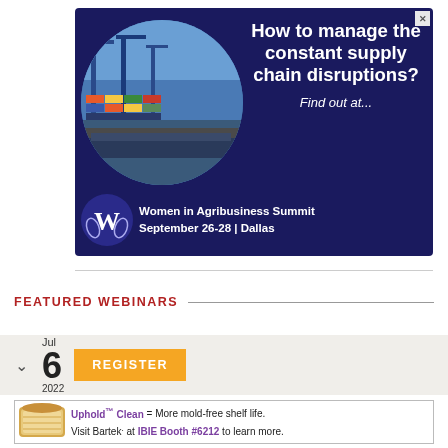[Figure (illustration): Advertisement banner for Women in Agribusiness Summit. Dark navy background with a circular port/shipping container image on the left. White bold text reads 'How to manage the constant supply chain disruptions? Find out at...' with Women in Agribusiness Summit logo and event details 'September 26-28 | Dallas'.]
FEATURED WEBINARS
[Figure (screenshot): Webinar listing card with chevron, date '6 Jul 2022', and an orange REGISTER button on a beige background.]
Uphold™ Clean = More mold-free shelf life. Visit Bartek. at IBIE Booth #6212 to learn more.